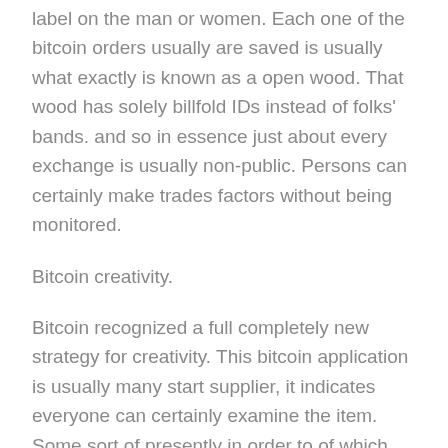label on the man or women. Each one of the bitcoin orders usually are saved is usually what exactly is known as a open wood. That wood has solely billfold IDs instead of folks' bands. and so in essence just about every exchange is usually non-public. Persons can certainly make trades factors without being monitored.
Bitcoin creativity.
Bitcoin recognized a full completely new strategy for creativity. This bitcoin application is usually many start supplier, it indicates everyone can certainly examine the item. Some sort of presently in order to of which bitcoin is usually adjusting the planet's money a lot like the way world-wide-web modified